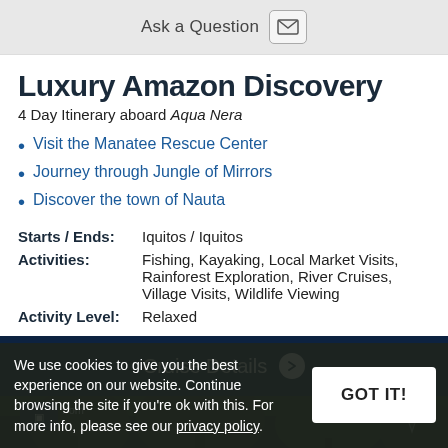Ask a Question
Luxury Amazon Discovery
4 Day Itinerary aboard Aqua Nera
Visit the Manatee Rescue Center
Journey through Jungle of Mirrors
Discover the town of Nauta
| Starts / Ends: | Iquitos / Iquitos |
| Activities: | Fishing, Kayaking, Local Market Visits, Rainforest Exploration, River Cruises, Village Visits, Wildlife Viewing |
| Activity Level: | Relaxed |
Cruise Details →
[Figure (photo): Jungle/rainforest photo strip background]
We use cookies to give you the best experience on our website. Continue browsing the site if you're ok with this. For more info, please see our privacy policy.